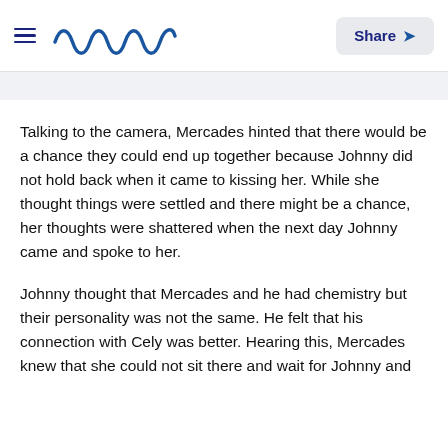Meaww — Share
Talking to the camera, Mercades hinted that there would be a chance they could end up together because Johnny did not hold back when it came to kissing her. While she thought things were settled and there might be a chance, her thoughts were shattered when the next day Johnny came and spoke to her.
Johnny thought that Mercades and he had chemistry but their personality was not the same. He felt that his connection with Cely was better. Hearing this, Mercades knew that she could not sit there and wait for Johnny and